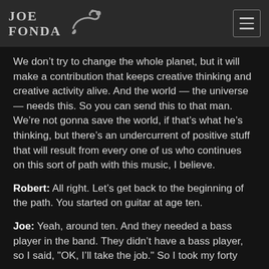Joe Fonda
We don’t try to change the whole planet, but it will make a contribution that keeps creative thinking and creative activity alive. And the world — the universe — needs this. So you can send this to that man. We’re not gonna save the world, if that’s what he’s thinking, but there’s an undercurrent of positive stuff that will result from every one of us who continues on this sort of path with this music, I believe.
Robert: All right. Let’s get back to the beginning of the path. You started on guitar at age ten.
Joe: Yeah, around ten. And they needed a bass player in the band. They didn’t have a bass player, so I said, "OK, I’ll take the job." So I took my forty